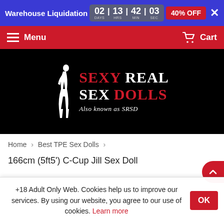Warehouse Liquidation | 02 DAYS 13 HRS 42 MIN 03 SEC | 40% OFF
Menu | Cart
[Figure (logo): Sexy Real Sex Dolls logo on black background with silhouette figure. Text: SEXY REAL SEX DOLLS Also known as SRSD]
Home > Best TPE Sex Dolls >
166cm (5ft5') C-Cup Jill Sex Doll
+18 Adult Only Web. Cookies help us to improve our services. By using our website, you agree to our use of cookies. Learn more